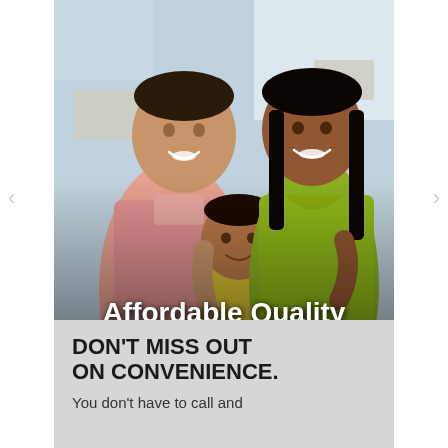[Figure (photo): A happy family (man in pink shirt, woman in yellow-green top, and a baby in yellow shirt) smiling at the camera, with text overlay 'Affordable Quality Health Care.' and an orange button 'JOIN SAMWUMED']
DON'T MISS OUT ON CONVENIENCE.
You don't have to call and